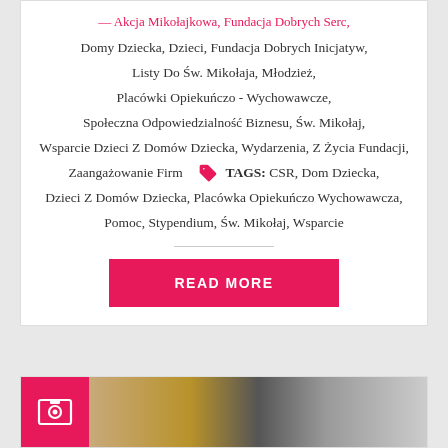Akcja Mikołajkowa, Fundacja Dobrych Serc, Domy Dziecka, Dzieci, Fundacja Dobrych Inicjatyw, Listy Do Św. Mikołaja, Młodzież, Placówki Opiekuńczo - Wychowawcze, Społeczna Odpowiedzialność Biznesu, Św. Mikołaj, Wsparcie Dzieci Z Domów Dziecka, Wydarzenia, Z Życia Fundacji, Zaangażowanie Firm TAGS: CSR, Dom Dziecka, Dzieci Z Domów Dziecka, Placówka Opiekuńczo Wychowawcza, Pomoc, Stypendium, Św. Mikołaj, Wsparcie
[Figure (other): READ MORE button in pink/magenta color]
[Figure (photo): Bottom image strip with photo icon on pink background and partial photo of people]